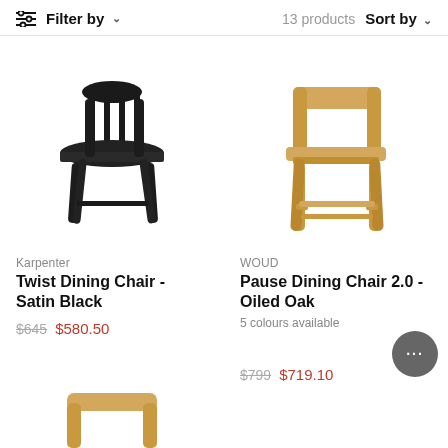Filter by   13 products   Sort by
[Figure (photo): Black spindle-back dining chair (Karpenter Twist Dining Chair, Satin Black) on white background]
Karpenter
Twist Dining Chair - Satin Black
$645  $580.50
[Figure (photo): Natural oak dining chair (WOUD Pause Dining Chair 2.0, Oiled Oak) on white background]
WOUD
Pause Dining Chair 2.0 - Oiled Oak
5 colours available
$799  $719.10